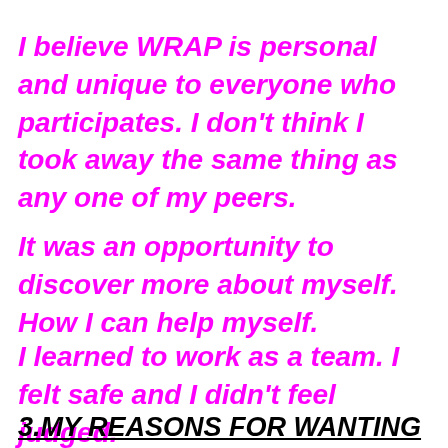I believe WRAP is personal and unique to everyone who participates. I don't think I took away the same thing as any one of my peers.
It was an opportunity to discover more about myself. How I can help myself.
I learned to work as a team. I felt safe and I didn't feel judged.
3.MY REASONS FOR WANTING TO